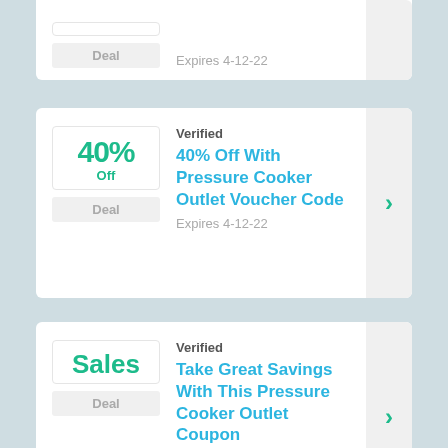Deal | Expires 4-12-22
Verified | 40% Off With Pressure Cooker Outlet Voucher Code | Expires 4-12-22
Verified | Take Great Savings With This Pressure Cooker Outlet Coupon | Expires 4-12-22